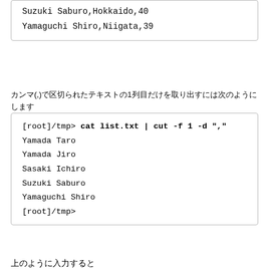Suzuki Saburo,Hokkaido,40
Yamaguchi Shiro,Niigata,39
カンマ(,)で区切られたテキストの1列目だけを取り出すには次のようにします
[root]/tmp> cat list.txt | cut -f 1 -d ","
Yamada Taro
Yamada Jiro
Sasaki Ichiro
Suzuki Saburo
Yamaguchi Shiro
[root]/tmp>
上のように入力すると